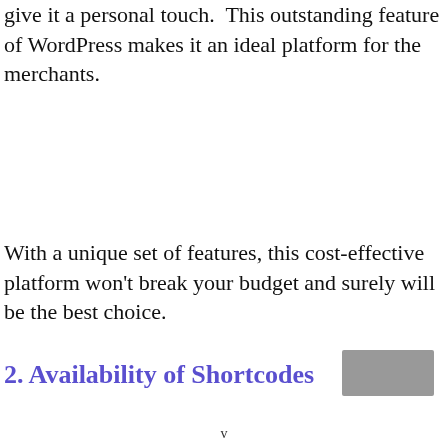give it a personal touch. This outstanding feature of WordPress makes it an ideal platform for the merchants.
With a unique set of features, this cost-effective platform won't break your budget and surely will be the best choice.
2. Availability of Shortcodes
v